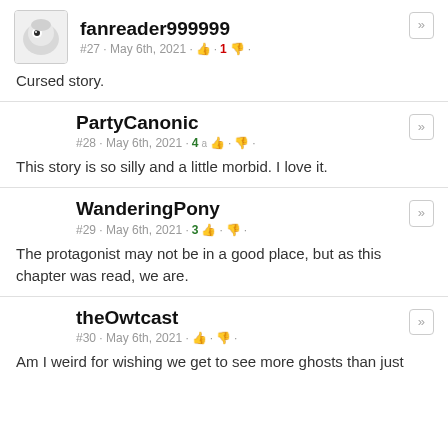fanreader999999
#27 · May 6th, 2021 · 👍 · 1 👎 ·
Cursed story.
PartyCanonic
#28 · May 6th, 2021 · 4 👍 · 👎 ·
This story is so silly and a little morbid. I love it.
WanderingPony
#29 · May 6th, 2021 · 3 👍 · 👎 ·
The protagonist may not be in a good place, but as this chapter was read, we are.
theOwtcast
#30 · May 6th, 2021 · 👍 · 👎 ·
Am I weird for wishing we get to see more ghosts than just